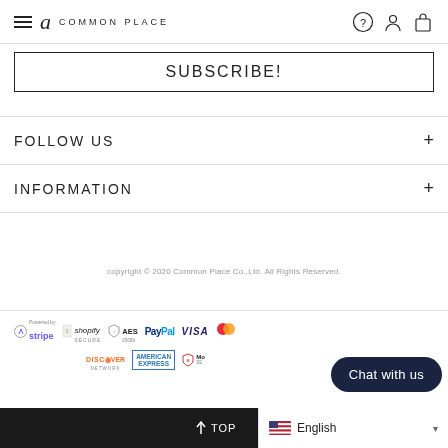Common Place
SUBSCRIBE!
FOLLOW US
INFORMATION
copyright © 2020 Common Place Co.,Ltd. All Rights Reserved.
[Figure (logo): Payment badges: Stripe, Shopify Secure, AES 256Bit, PayPal, VISA, Mastercard, Discover Network, American Express, McAfee Secure]
Chat with us
↑ TOP   English